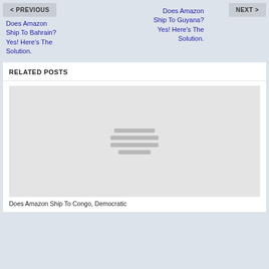< PREVIOUS
NEXT >
Does Amazon Ship To Bahrain? Yes! Here’s The Solution.
Does Amazon Ship To Guyana? Yes! Here’s The Solution.
RELATED POSTS
[Figure (illustration): Placeholder image with three horizontal grey lines forming a loading/image placeholder icon]
Does Amazon Ship To Congo, Democratic